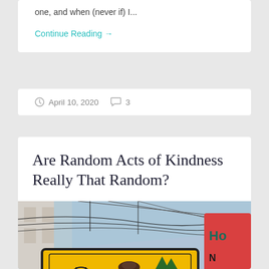one, and when (never if) I...
Continue Reading →
April 10, 2020   3
Are Random Acts of Kindness Really That Random?
[Figure (photo): A yellow restaurant sign reading 'Nice Kitchen' with fork and tree icons, photographed from below against a building with overhead wires. A red sign partially visible on right edge reading 'Ho'.]